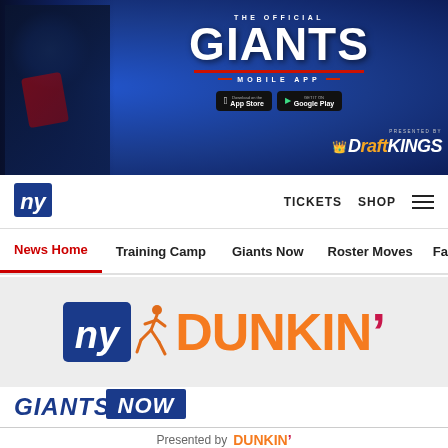[Figure (screenshot): New York Giants official mobile app banner advertisement with player image, app store download buttons, and DraftKings sponsorship logo on blue background]
NY Giants logo | TICKETS | SHOP | hamburger menu
News Home | Training Camp | Giants Now | Roster Moves | Fact o...
[Figure (logo): NY Giants logo and Dunkin' logo side by side on grey background]
[Figure (logo): Giants Now logo in italic bold text]
Presented by DUNKIN'
[Figure (infographic): Social media share icons: Facebook, Twitter, Email, Link]